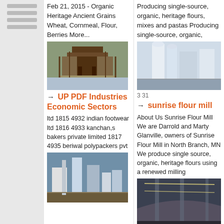[Figure (other): Sidebar with horizontal lines]
Feb 21, 2015 - Organic Heritage Ancient Grains Wheat, Cornmeal, Flour, Berries More...
[Figure (photo): Industrial structure on stilts/platform over water]
→ UP PDF Industries Economic Sectors
ltd 1815 4932 indian footwear ltd 1816 4933 kanchan,s bakers private limited 1817 4935 beriwal polypackers pvt
[Figure (photo): Industrial facility with large silos and equipment]
Producing single-source, organic, heritage flours, mixes and pastas Producing single-source, organic,
[Figure (photo): Industrial flour mill equipment with large cylindrical structures]
3 31
→ sunrise flour mill
About Us Sunrise Flour Mill We are Darrold and Marty Glanville, owners of Sunrise Flour Mill in North Branch, MN We produce single source, organic, heritage flours using a renewed milling
[Figure (photo): Interior of flour mill with arched ceiling and lighting]